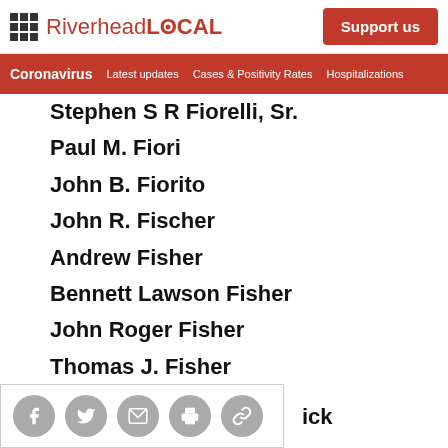RiverheadLOCAL | Support us
Coronavirus | Latest updates | Cases & Positivity Rates | Hospitalizations
Stephen S R Fiorelli, Sr.
Paul M. Fiori
John B. Fiorito
John R. Fischer
Andrew Fisher
Bennett Lawson Fisher
John Roger Fisher
Thomas J. Fisher
Lucy A. Fishman
Ryan D. Fitzgerald
[Figure (infographic): Social sharing icons: Facebook, Twitter, Email, Print, Link. Partially overlaid on the last list item.]